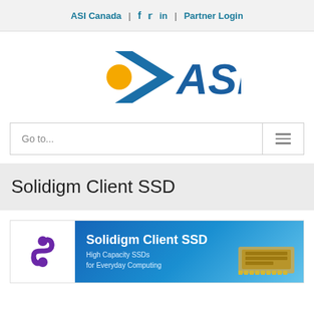ASI Canada | f t in | Partner Login
[Figure (logo): ASI logo with blue arrow/chevron and yellow dot, bold blue ASI text]
Go to...
Solidigm Client SSD
[Figure (illustration): Solidigm Client SSD product banner: white left panel with purple Solidigm logo mark, blue gradient right panel with text 'Solidigm Client SSD / High Capacity SSDs / for Everyday Computing' and SSD product image on right]